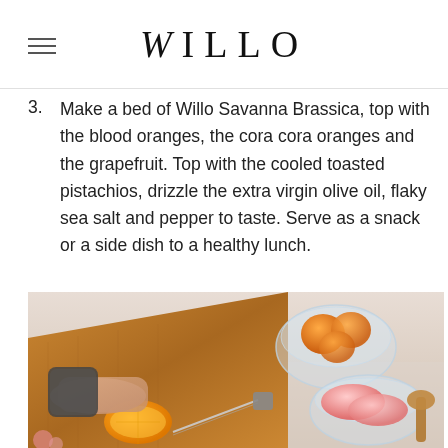WILLO
3. Make a bed of Willo Savanna Brassica, top with the blood oranges, the cora cora oranges and the grapefruit. Top with the cooled toasted pistachios, drizzle the extra virgin olive oil, flaky sea salt and pepper to taste. Serve as a snack or a side dish to a healthy lunch.
[Figure (photo): Person cutting citrus fruit on a wooden cutting board, with glass bowls containing oranges and grapefruit slices in the background on a white marble surface]